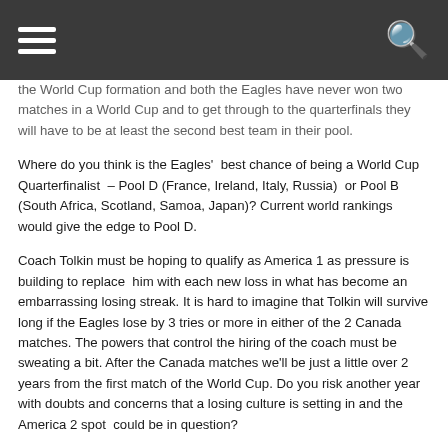[hamburger menu icon] [search icon]
the World Cup formation and both the Eagles have never won two matches in a World Cup and to get through to the quarterfinals they will have to be at least the second best team in their pool.
Where do you think is the Eagles'  best chance of being a World Cup Quarterfinalist – Pool D (France, Ireland, Italy, Russia)  or Pool B (South Africa, Scotland, Samoa, Japan)? Current world rankings would give the edge to Pool D.
Coach Tolkin must be hoping to qualify as America 1 as pressure is building to replace  him with each new loss in what has become an embarrassing losing streak. It is hard to imagine that Tolkin will survive long if the Eagles lose by 3 tries or more in either of the 2 Canada matches. The powers that control the hiring of the coach must be sweating a bit. After the Canada matches we'll be just a little over 2 years from the first match of the World Cup. Do you risk another year with doubts and concerns that a losing culture is setting in and the America 2 spot  could be in question?